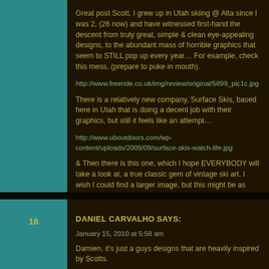Great post Scott. I grew up in Utah skiing @ Alta since I was 2, (26 now) and have witnessed first-hand the descent from truly great, simple & clean eye-appealing designs, to the abundant mass of horrible graphics that seem to STILL pop up every year… For example, check this mess, (prepare to puke in mouth).
http://www.freeride.co.uk/img/review/original/5899_pic1c.jpg
There is a relatively new company, Surface Skis, based here in Utah that is doing a decent job with their graphics, but still it feels like an attempt…
http://www.uboutdoors.com/wp-content/uploads/2009/09/surface-skis-watch-life.jpg
& Then there is this one, which I hope EVERYBODY will take a look at, a true classic gem of vintage ski art. I wish I could find a larger image, but this might be as good as it gets. Design at its finest, haha. Please take a look, and remember the basics of skiing: "Keep Those Tips Up!".
http://www.insyt.biz/Galleries/Dynastar/170.jpg
16
DANIEL CARVALHO SAYS:
January 15, 2010 at 5:58 am
Damien, it's just a guys designs that are heavily inspired by Scotts.